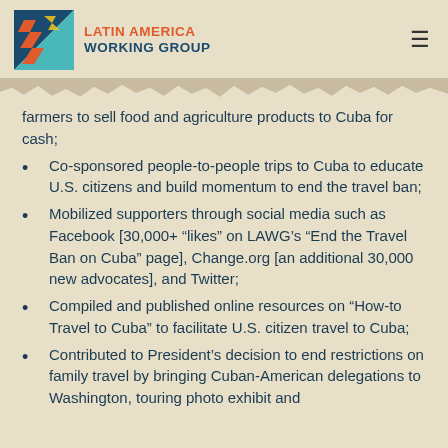Latin America Working Group
farmers to sell food and agriculture products to Cuba for cash;
Co-sponsored people-to-people trips to Cuba to educate U.S. citizens and build momentum to end the travel ban;
Mobilized supporters through social media such as Facebook [30,000+ “likes” on LAWG’s “End the Travel Ban on Cuba” page], Change.org [an additional 30,000 new advocates], and Twitter;
Compiled and published online resources on “How-to Travel to Cuba” to facilitate U.S. citizen travel to Cuba;
Contributed to President’s decision to end restrictions on family travel by bringing Cuban-American delegations to Washington, touring photo exhibit and